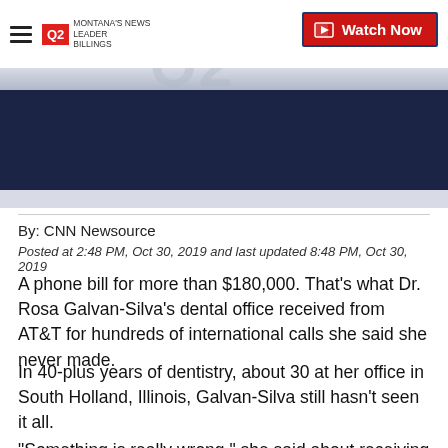Q2 MONTANA'S NEWS LEADER BILLINGS | Watch Now
[Figure (screenshot): Video thumbnail area with dark navy background, partial Q2 logo watermark visible]
By: CNN Newsource
Posted at 2:48 PM, Oct 30, 2019 and last updated 8:48 PM, Oct 30, 2019
A phone bill for more than $180,000. That's what Dr. Rosa Galvan-Silva's dental office received from AT&T for hundreds of international calls she said she never made.
In 40-plus years of dentistry, about 30 at her office in South Holland, Illinois, Galvan-Silva still hasn't seen it all.
“Something is really wrong,” she said about receiving